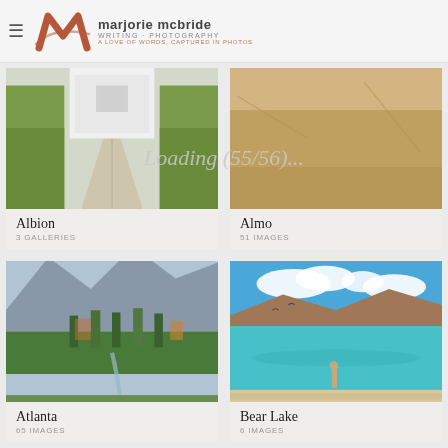marjorie mcbride WRITING · PHOTOGRAPHY
[Figure (photo): Concrete walkway with green grass on either side leading to a white building]
Albion
3 GALLERIES
[Figure (photo): Sandy ground/dirt road surface from above]
Loading (55/56)...
Almo
51 IMAGES
[Figure (photo): Mountain landscape with pine trees, rocky peaks, and a waterfall path]
Atlanta
65 IMAGES
[Figure (photo): Bear Lake with turquoise water, sandy beach, a person standing in shallow water, mountains and clouds in background]
Bear Lake
6 IMAGES